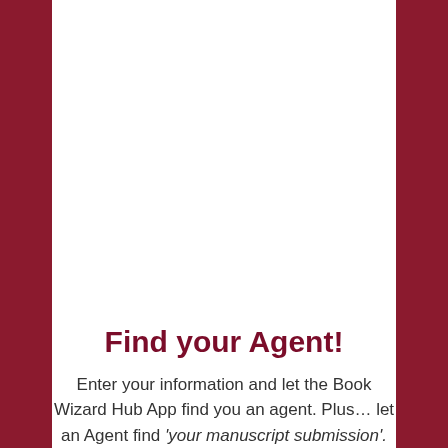Find your Agent!
Enter your information and let the Book Wizard Hub App find you an agent. Plus… let an Agent find 'your manuscript submission'.